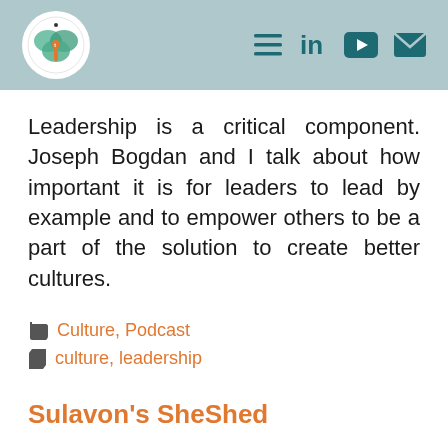Navigation header with logo and icons
Leadership is a critical component. Joseph Bogdan and I talk about how important it is for leaders to lead by example and to empower others to be a part of the solution to create better cultures.
Culture, Podcast
culture, leadership
Sulavon's SheShed